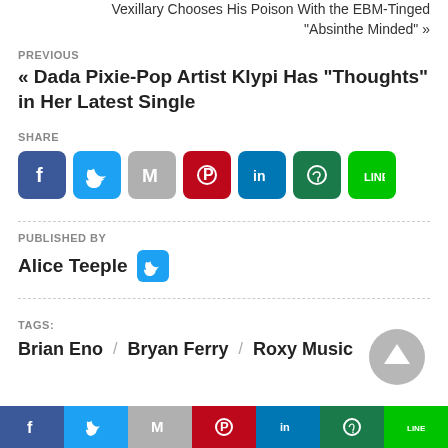Vexillary Chooses His Poison With the EBM-Tinged "Absinthe Minded" »
PREVIOUS
« Dada Pixie-Pop Artist Klypi Has "Thoughts" in Her Latest Single
SHARE
[Figure (other): Social share buttons: Facebook, Twitter, Gmail, Pinterest, LinkedIn, WhatsApp, LINE]
PUBLISHED BY
Alice Teeple
TAGS:
Brian Eno / Bryan Ferry / Roxy Music
[Figure (other): Bottom social share bar: Facebook, Twitter, Gmail, Pinterest, LinkedIn, WhatsApp, LINE]